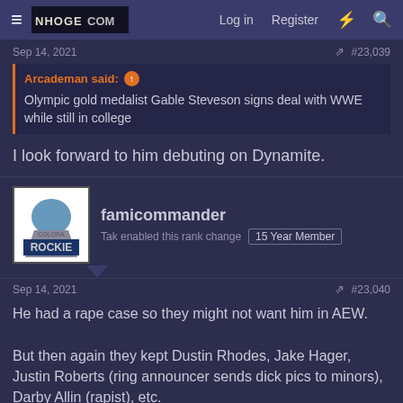≡ NHOGECOM Log in Register ⚡ 🔍
Sep 14, 2021   #23,039
Arcademan said: ↑
Olympic gold medalist Gable Steveson signs deal with WWE while still in college
I look forward to him debuting on Dynamite.
famicommander
Tak enabled this rank change  15 Year Member
Sep 14, 2021   #23,040
He had a rape case so they might not want him in AEW.

But then again they kept Dustin Rhodes, Jake Hager, Justin Roberts (ring announcer sends dick pics to minors), Darby Allin (rapist), etc.
famicommander